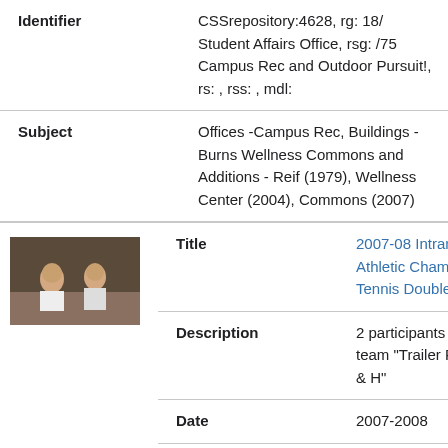| Field | Value |
| --- | --- |
| Identifier | CSSrepository:4628, rg: 18/ Student Affairs Office, rsg: /75 Campus Rec and Outdoor Pursuit!, rs: , rss: , mdl: |
| Subject | Offices -Campus Rec, Buildings - Burns Wellness Commons and Additions - Reif (1979), Wellness Center (2004), Commons (2007) |
| Title | 2007-08 Intramural Athletic Champions: Tennis Doubles |
| Description | 2 participants on team "Trailer Park P & H" |
| Date | 2007-2008 |
| Identifier | CSSrepository:4627, rg: 18/ Student Affairs Office, rsg: /75 Campus Rec and Outdoor Pursuit!, rs: , rss: |
[Figure (photo): Thumbnail photo of two participants, intramural tennis doubles champions]